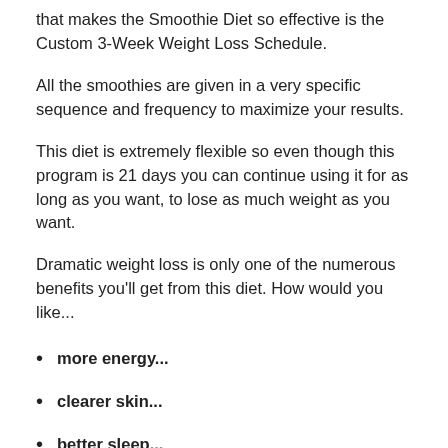that makes the Smoothie Diet so effective is the Custom 3-Week Weight Loss Schedule.
All the smoothies are given in a very specific sequence and frequency to maximize your results.
This diet is extremely flexible so even though this program is 21 days you can continue using it for as long as you want, to lose as much weight as you want.
Dramatic weight loss is only one of the numerous benefits you'll get from this diet. How would you like...
more energy...
clearer skin...
better sleep...
sharper thinking...